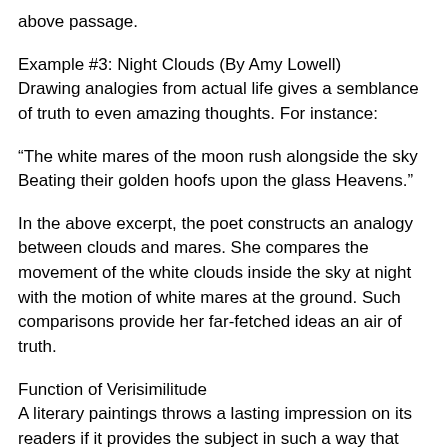above passage.
Example #3: Night Clouds (By Amy Lowell)
Drawing analogies from actual life gives a semblance of truth to even amazing thoughts. For instance:
“The white mares of the moon rush alongside the sky Beating their golden hoofs upon the glass Heavens.”
In the above excerpt, the poet constructs an analogy between clouds and mares. She compares the movement of the white clouds inside the sky at night with the motion of white mares at the ground. Such comparisons provide her far-fetched ideas an air of truth.
Function of Verisimilitude
A literary paintings throws a lasting impression on its readers if it provides the subject in such a way that readers can relate it to real life. Conformity to the concept of